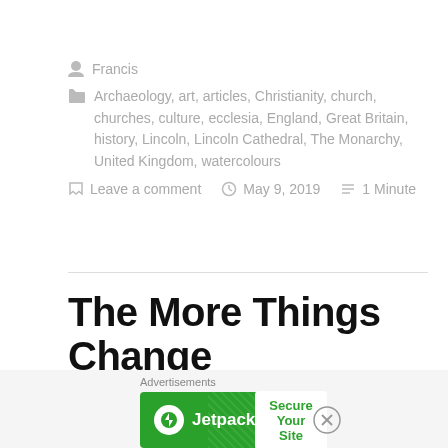Francis
Archaeology, art, articles, Christianity, church, churches, culture, ecclesia, England, Great Britain, history, Lincoln, Lincoln Cathedral, The Monarchy, United Kingdom, watercolours
Leave a comment   May 9, 2019   1 Minute
The More Things Change
He embodies both the deep traditions of Royalty
[Figure (other): Jetpack advertisement banner with logo and 'Secure Your Site' button, with close (X) button]